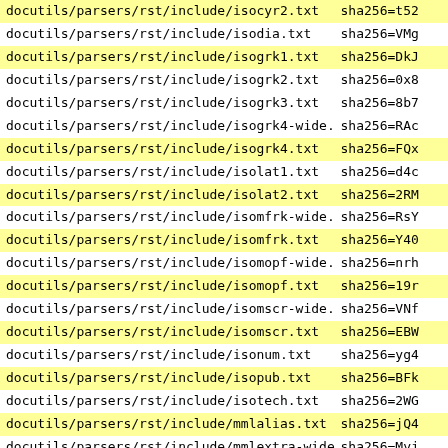| file | hash |
| --- | --- |
| docutils/parsers/rst/include/isocyr2.txt | sha256=t52 |
| docutils/parsers/rst/include/isodia.txt | sha256=VMg |
| docutils/parsers/rst/include/isogrk1.txt | sha256=DkJ |
| docutils/parsers/rst/include/isogrk2.txt | sha256=0x8 |
| docutils/parsers/rst/include/isogrk3.txt | sha256=8b7 |
| docutils/parsers/rst/include/isogrk4-wide.txt | sha256=RAc |
| docutils/parsers/rst/include/isogrk4.txt | sha256=FQx |
| docutils/parsers/rst/include/isolat1.txt | sha256=d4c |
| docutils/parsers/rst/include/isolat2.txt | sha256=2RM |
| docutils/parsers/rst/include/isomfrk-wide.txt | sha256=RsY |
| docutils/parsers/rst/include/isomfrk.txt | sha256=Y40 |
| docutils/parsers/rst/include/isomopf-wide.txt | sha256=nrh |
| docutils/parsers/rst/include/isomopf.txt | sha256=19r |
| docutils/parsers/rst/include/isomscr-wide.txt | sha256=VNf |
| docutils/parsers/rst/include/isomscr.txt | sha256=EBW |
| docutils/parsers/rst/include/isonum.txt | sha256=yg4 |
| docutils/parsers/rst/include/isopub.txt | sha256=BFk |
| docutils/parsers/rst/include/isotech.txt | sha256=2WG |
| docutils/parsers/rst/include/mmlalias.txt | sha256=jQ4 |
| docutils/parsers/rst/include/mmlextra-wide.txt | sha256=Myj |
| docutils/parsers/rst/include/mmlextra.txt | sha256=DfW |
| docutils/parsers/rst/include/s5defs.txt | sha256=_5J |
| docutils/parsers/rst/include/xhtml1-lat1.txt | sha256=ht_ |